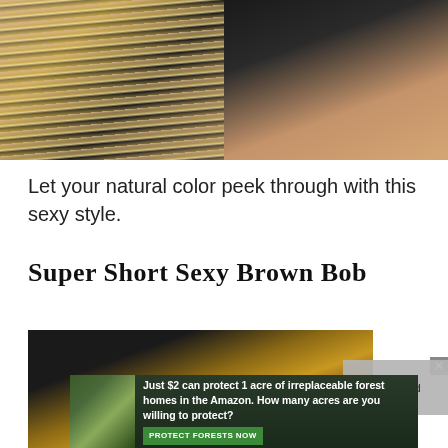[Figure (photo): Two side-by-side hair photos showing blonde highlighted style from above]
Let your natural color peek through with this sexy style.
Super Short Sexy Brown Bob
[Figure (photo): Photo of a super short brown bob hairstyle with caramel highlights viewed from above/behind]
was found
[Figure (infographic): Advertisement banner: Just $2 can protect 1 acre of irreplaceable forest homes in the Amazon. How many acres are you willing to protect? PROTECT FORESTS NOW]